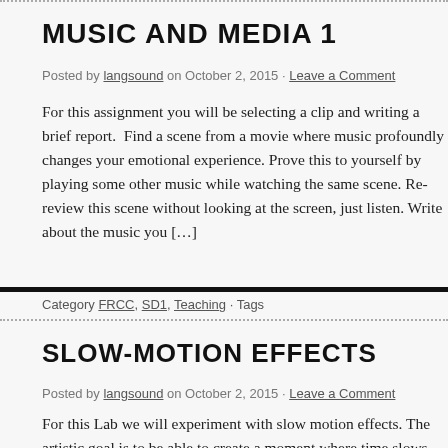MUSIC AND MEDIA 1
Posted by langsound on October 2, 2015 · Leave a Comment
For this assignment you will be selecting a clip and writing a brief report.  Find a scene from a movie where music profoundly changes your emotional experience. Prove this to yourself by playing some other music while watching the same scene. Re-review this scene without looking at the screen, just listen. Write about the music you […]
Category FRCC, SD1, Teaching · Tags
SLOW-MOTION EFFECTS
Posted by langsound on October 2, 2015 · Leave a Comment
For this Lab we will experiment with slow motion effects. The artistic goal is to be able to create a moment where time slows down.  The technical goal is to build your sound design vocabulary and tool ki